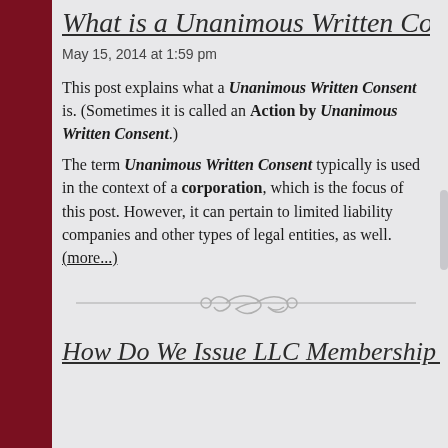What is a Unanimous Written Consent
May 15, 2014 at 1:59 pm
This post explains what a Unanimous Written Consent is. (Sometimes it is called an Action by Unanimous Written Consent.)
The term Unanimous Written Consent typically is used in the context of a corporation, which is the focus of this post. However, it can pertain to limited liability companies and other types of legal entities, as well. (more...)
[Figure (illustration): Decorative scroll divider ornament]
How Do We Issue LLC Membership I